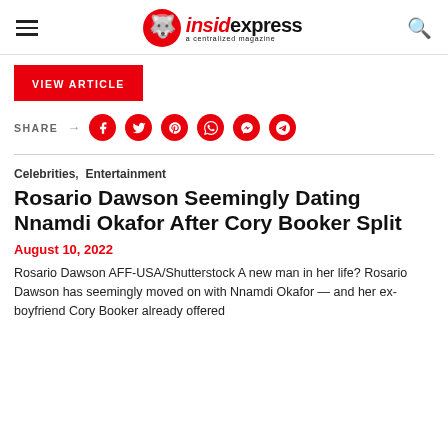insidexpress a centralized magazine
[Figure (logo): InsidExpress logo with red circular icon and text 'insidexpress a centralized magazine']
VIEW ARTICLE
SHARE → (social media icons: Facebook, Twitter, Pinterest, WhatsApp, Messenger, Telegram)
Celebrities, Entertainment
Rosario Dawson Seemingly Dating Nnamdi Okafor After Cory Booker Split
August 10, 2022
Rosario Dawson AFF-USA/Shutterstock A new man in her life? Rosario Dawson has seemingly moved on with Nnamdi Okafor — and her ex-boyfriend Cory Booker already offered